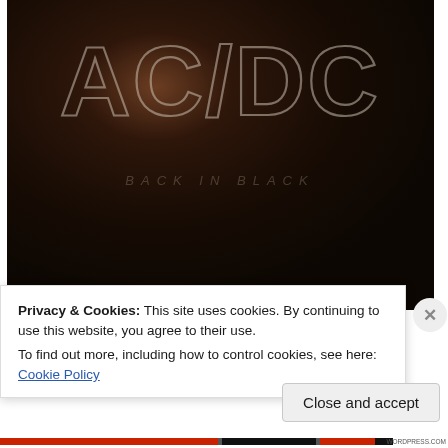[Figure (photo): AC/DC album cover — dark/black background with AC/DC logo in outlined block letters at the top, faint subtitle text below]
Privacy & Cookies: This site uses cookies. By continuing to use this website, you agree to their use.
To find out more, including how to control cookies, see here: Cookie Policy
Close and accept